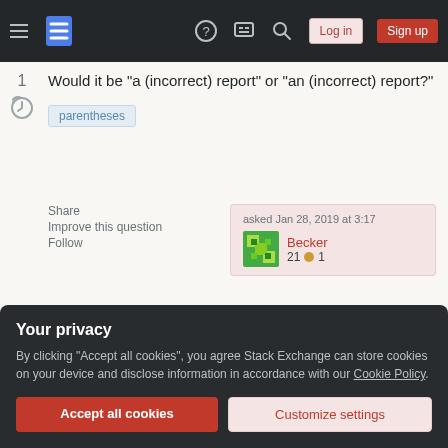Stack Exchange navigation bar with hamburger menu, logo, help, chat, search, Log in, Sign up
Would it be "a (incorrect) report" or "an (incorrect) report?"
parentheses
Share
Improve this question
Follow
asked Jan 28, 2019 at 3:17
Becker 21 ●1
The choice between "a" and "an" is not strictly grammar.
— Hot Licks Jan 28, 2019 at 3:17
Your privacy
By clicking "Accept all cookies", you agree Stack Exchange can store cookies on your device and disclose information in accordance with our Cookie Policy.
Accept all cookies
Customize settings